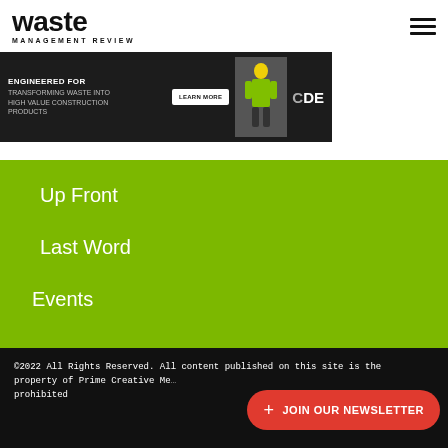waste MANAGEMENT REVIEW
[Figure (infographic): CDE advertisement banner: dark background with construction workers, text 'ENGINEERED FOR TRANSFORMING WASTE INTO HIGH VALUE CONSTRUCTION PRODUCTS', LEARN MORE button, CDE logo]
Up Front
Last Word
Events
©2022 All Rights Reserved. All content published on this site is the property of Prime Creative Me... prohibited
+ JOIN OUR NEWSLETTER